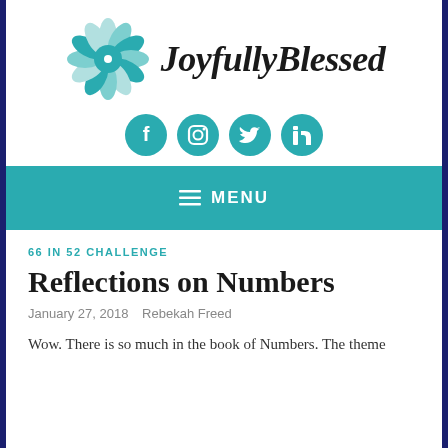[Figure (logo): JoyfullyBlessed blog logo with teal flower and cursive text]
[Figure (infographic): Four teal circular social media icons: Facebook, Instagram, Twitter, LinkedIn]
≡ MENU
66 IN 52 CHALLENGE
Reflections on Numbers
January 27, 2018   Rebekah Freed
Wow. There is so much in the book of Numbers. The theme